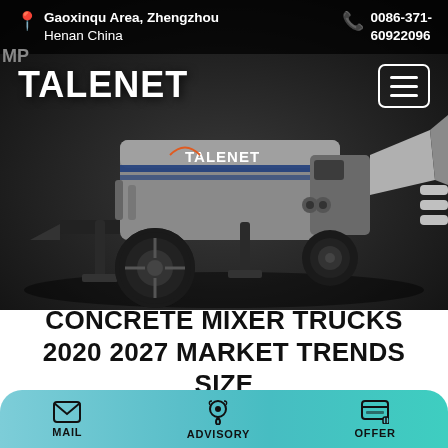Gaoxinqu Area, Zhengzhou Henan China  |  0086-371-60922096
[Figure (photo): Talenet branded concrete pump truck/mixer machine on dark background. The machine is gray with blue stripes and TALENET branding. It has large black tires and a loading hopper.]
TALENET
CONCRETE MIXER TRUCKS 2020 2027 MARKET TRENDS SIZE
MAIL  ADVISORY  OFFER